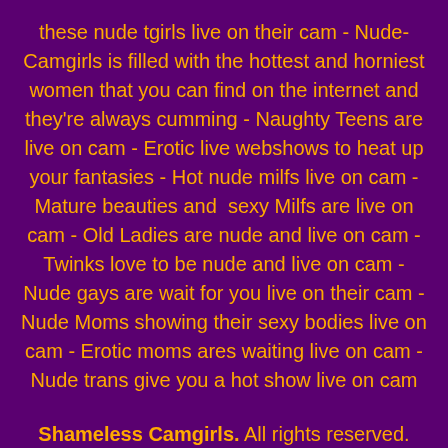these nude tgirls live on their cam - Nude-Camgirls is filled with the hottest and horniest women that you can find on the internet and they're always cumming - Naughty Teens are live on cam - Erotic live webshows to heat up your fantasies - Hot nude milfs live on cam - Mature beauties and  sexy Milfs are live on cam - Old Ladies are nude and live on cam - Twinks love to be nude and live on cam - Nude gays are wait for you live on their cam - Nude Moms showing their sexy bodies live on cam - Erotic moms ares waiting live on cam - Nude trans give you a hot show live on cam
Shameless Camgirls. All rights reserved.